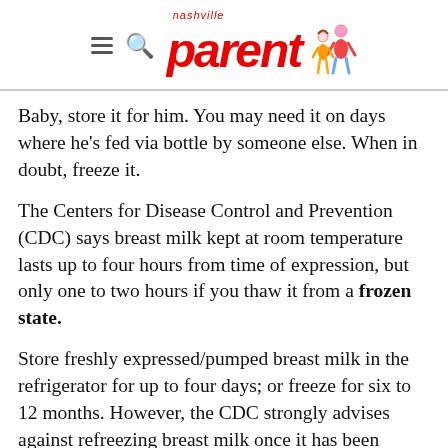nashville parent [logo with hamburger menu and search icon]
Baby, store it for him. You may need it on days where he's fed via bottle by someone else. When in doubt, freeze it.
The Centers for Disease Control and Prevention (CDC) says breast milk kept at room temperature lasts up to four hours from time of expression, but only one to two hours if you thaw it from a frozen state.
Store freshly expressed/pumped breast milk in the refrigerator for up to four days; or freeze for six to 12 months. However, the CDC strongly advises against refreezing breast milk once it has been thawed.